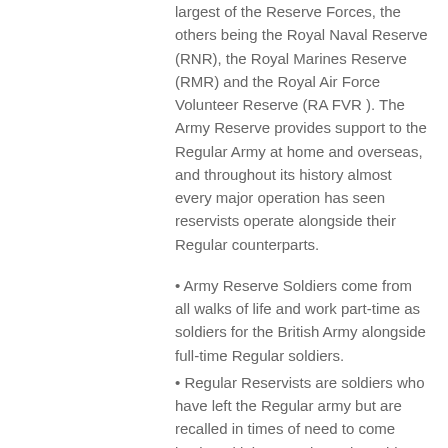largest of the Reserve Forces, the others being the Royal Naval Reserve (RNR), the Royal Marines Reserve (RMR) and the Royal Air Force Volunteer Reserve (RA FVR ). The Army Reserve provides support to the Regular Army at home and overseas, and throughout its history almost every major operation has seen reservists operate alongside their Regular counterparts.
• Army Reserve Soldiers come from all walks of life and work part-time as soldiers for the British Army alongside full-time Regular soldiers.
• Regular Reservists are soldiers who have left the Regular army but are recalled in times of need to come back and join operations alongside Regular soldiers.
The role of the Army Reserve
The Army Reserve has two clearly defined roles. Firstly, it provides highly trained soldiers who can work alongside the Regulars on missions in the UK and overseas. Secondly, it gives people who have specialist skills, like medics and  engineers, a range of exciting